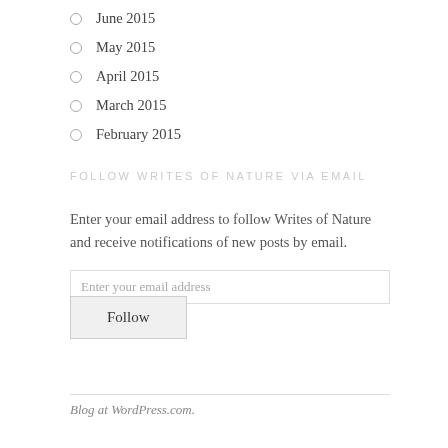June 2015
May 2015
April 2015
March 2015
February 2015
FOLLOW WRITES OF NATURE VIA EMAIL
Enter your email address to follow Writes of Nature and receive notifications of new posts by email.
Enter your email address
Follow
Blog at WordPress.com.